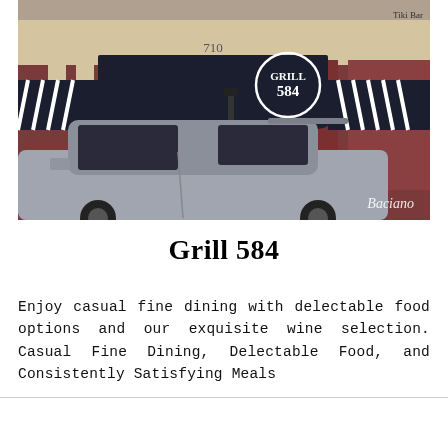[Figure (photo): Exterior photo of Grill 584 restaurant showing dark awning with '584' logo, red brick building numbered 710, and a silver SUV parked in front. 'Baciano' watermark visible in bottom right corner.]
Grill 584
Enjoy casual fine dining with delectable food options and our exquisite wine selection. Casual Fine Dining, Delectable Food, and Consistently Satisfying Meals